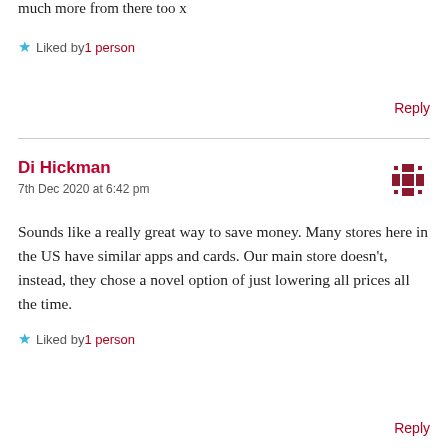much more from there too x
Liked by 1 person
Reply
Di Hickman
7th Dec 2020 at 6:42 pm
Sounds like a really great way to save money. Many stores here in the US have similar apps and cards. Our main store doesn't, instead, they chose a novel option of just lowering all prices all the time.
Liked by 1 person
Reply